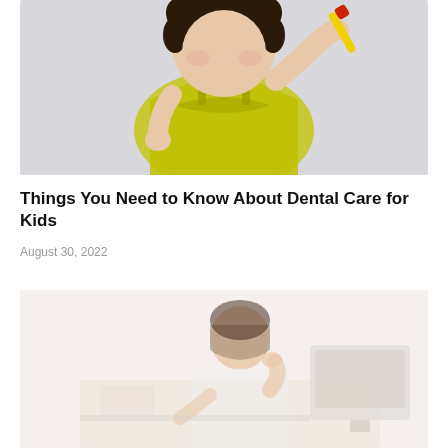[Figure (photo): Young Asian girl in a yellow sleeveless top brushing her teeth with a yellow and red toothbrush against a light gray background]
Things You Need to Know About Dental Care for Kids
August 30, 2022
[Figure (photo): Woman in white lab coat or professional attire sitting at a desk with a computer monitor, appearing to be working, faded/light washed-out appearance]